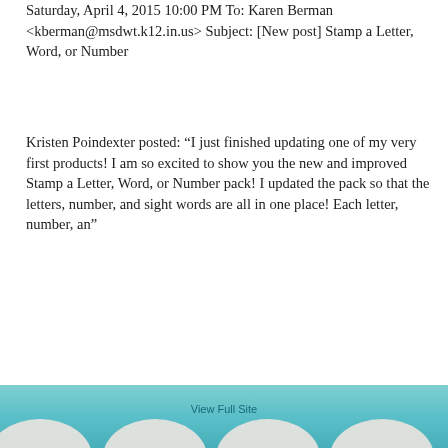Saturday, April 4, 2015 10:00 PM To: Karen Berman <kberman@msdwt.k12.in.us> Subject: [New post] Stamp a Letter, Word, or Number
Kristen Poindexter posted: “I just finished updating one of my very first products! I am so excited to show you the new and improved Stamp a Letter, Word, or Number pack! I updated the pack so that the letters, number, and sight words are all in one place! Each letter, number, an”
★ Like
↳ Reply
[Figure (illustration): Footer banner with teal/turquoise ocean background and white circular shapes at the bottom, with 'View Full Site' text partially visible]